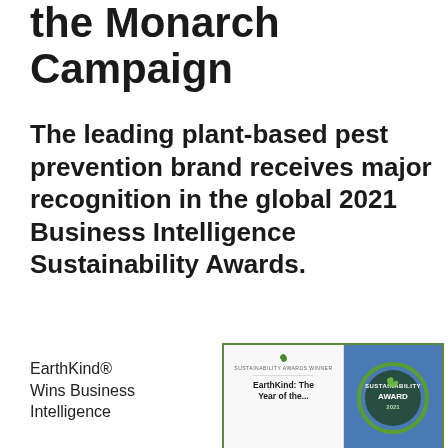the Monarch Campaign
The leading plant-based pest prevention brand receives major recognition in the global 2021 Business Intelligence Sustainability Awards.
EarthKind® Wins Business Intelligence
[Figure (photo): Award announcement image split into two panels: left panel shows 'Sustainability Awards Winner' text with leaf logo and 'EarthKind: The Year of the...' caption; right panel shows blue bokeh background with green circular Sustainability Award 2021 badge]